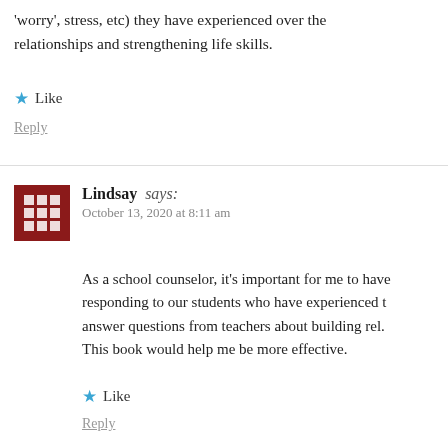'worry', stress, etc) they have experienced over the relationships and strengthening life skills.
Like
Reply
Lindsay says: October 13, 2020 at 8:11 am
As a school counselor, it's important for me to have responding to our students who have experienced t answer questions from teachers about building rel. This book would help me be more effective.
Like
Reply